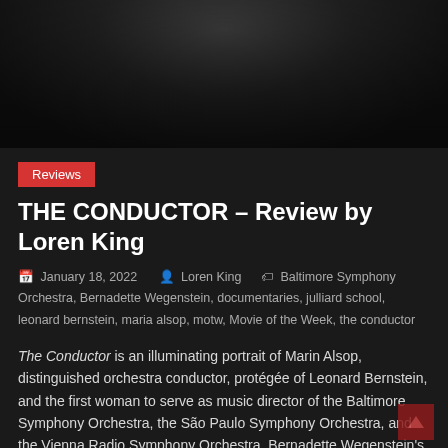[Figure (photo): Dark photograph of a person (likely Marin Alsop) partially visible against a dark background]
Reviews
THE CONDUCTOR – Review by Loren King
January 18, 2022  Loren King  Baltimore Symphony Orchestra, Bernadette Wegenstein, documentaries, julliard school, leonard bernstein, maria alsop, motw, Movie of the Week, the conductor
The Conductor is an illuminating portrait of Marin Alsop, distinguished orchestra conductor, protégée of Leonard Bernstein, and the first woman to serve as music director of the Baltimore Symphony Orchestra, the São Paulo Symphony Orchestra, and the Vienna Radio Symphony Orchestra. Bernadette Wegenstein's supremely entertaining